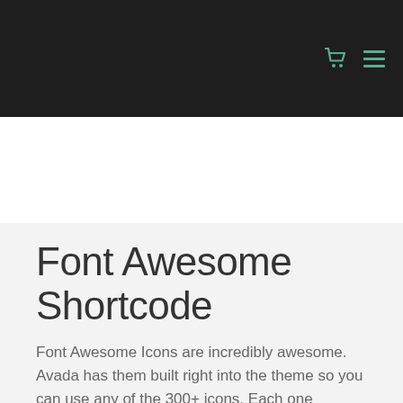Navigation header with cart and menu icons
Font Awesome Shortcode
Font Awesome Icons are incredibly awesome. Avada has them built right into the theme so you can use any of the 300+ icons. Each one